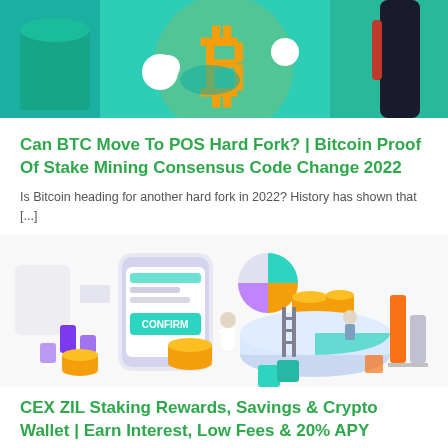[Figure (illustration): Bitcoin mascot illustration with golden B logo character giving thumbs up, set against teal/green background with colorful bottles]
Can BTC Move To POS Hard Fork? | Bitcoin Proof Of Stake Mining Consensus Code Change 2022
Is Bitcoin heading for another hard fork in 2022? History has shown that [...]
[Figure (illustration): Isometric illustration showing crypto staking/savings concept with mobile phone, pie chart, people, stacks of gold coins, and bar chart elements in purple, teal, orange and white colors]
CEX ZIL Staking Rewards, Savings & Crypto Wallet | Earn Interest, Low Fees & 20% APY
Crypto is going mainstream! This is an expression that we are